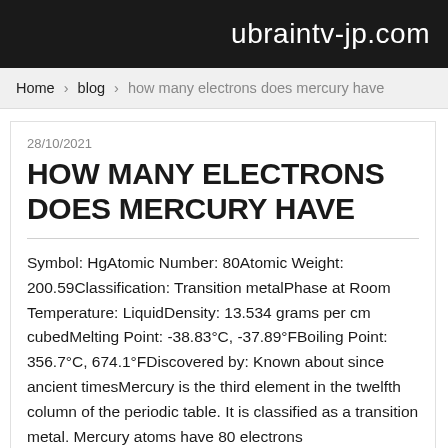ubraintv-jp.com
Home › blog › how many electrons does mercury have
28/10/2021
HOW MANY ELECTRONS DOES MERCURY HAVE
Symbol: HgAtomic Number: 80Atomic Weight: 200.59Classification: Transition metalPhase at Room Temperature: LiquidDensity: 13.534 grams per cm cubedMelting Point: -38.83°C, -37.89°FBoiling Point: 356.7°C, 674.1°FDiscovered by: Known about since ancient timesMercury is the third element in the twelfth column of the periodic table. It is classified as a transition metal. Mercury atoms have 80 electrons